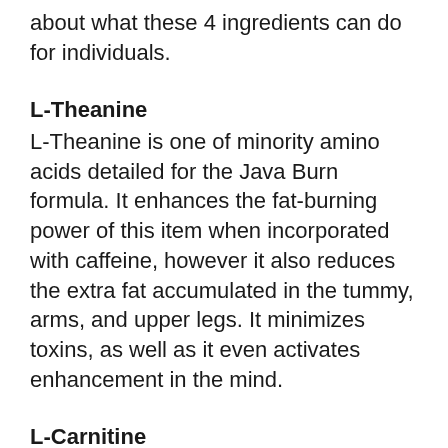about what these 4 ingredients can do for individuals.
L-Theanine
L-Theanine is one of minority amino acids detailed for the Java Burn formula. It enhances the fat-burning power of this item when incorporated with caffeine, however it also reduces the extra fat accumulated in the tummy, arms, and upper legs. It minimizes toxins, as well as it even activates enhancement in the mind.
L-Carnitine
L-Carnitine is the just various other amino acid mentioned by name, as well as it regulates both blood glucose and also high blood pressure degrees. It lowers the danger